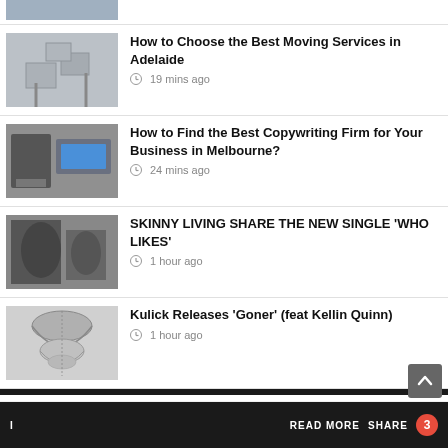How to Choose the Best Moving Services in Adelaide — 19 mins ago
How to Find the Best Copywriting Firm for Your Business in Melbourne? — 24 mins ago
SKINNY LIVING SHARE THE NEW SINGLE 'WHO LIKES' — 1 hour ago
Kulick Releases 'Goner' (feat Kellin Quinn) — 1 hour ago
NEW ISSUE
READ MORE  SHARE  3